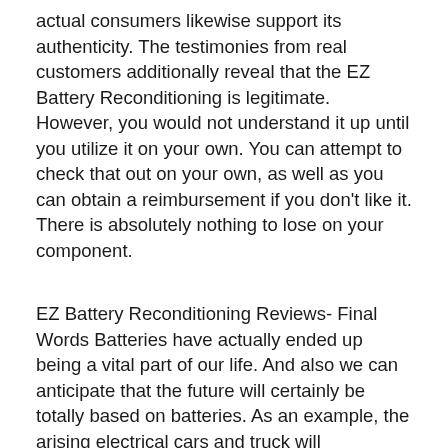actual consumers likewise support its authenticity. The testimonies from real customers additionally reveal that the EZ Battery Reconditioning is legitimate. However, you would not understand it up until you utilize it on your own. You can attempt to check that out on your own, as well as you can obtain a reimbursement if you don't like it. There is absolutely nothing to lose on your component.
EZ Battery Reconditioning Reviews- Final Words Batteries have actually ended up being a vital part of our life. And also we can anticipate that the future will certainly be totally based on batteries. As an example, the arising electrical cars and truck will